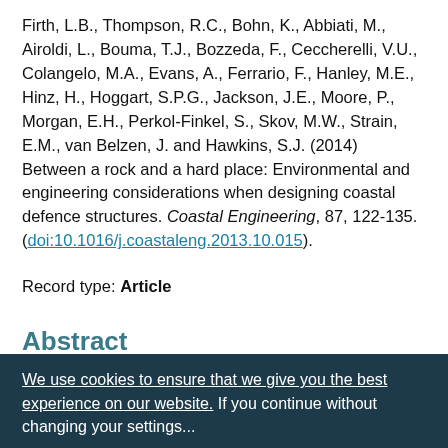Firth, L.B., Thompson, R.C., Bohn, K., Abbiati, M., Airoldi, L., Bouma, T.J., Bozzeda, F., Ceccherelli, V.U., Colangelo, M.A., Evans, A., Ferrario, F., Hanley, M.E., Hinz, H., Hoggart, S.P.G., Jackson, J.E., Moore, P., Morgan, E.H., Perkol-Finkel, S., Skov, M.W., Strain, E.M., van Belzen, J. and Hawkins, S.J. (2014) Between a rock and a hard place: Environmental and engineering considerations when designing coastal defence structures. Coastal Engineering, 87, 122-135. (doi:10.1016/j.coastaleng.2013.10.015).
Record type: Article
Abstract
Coastal defence structures are proliferating as a result of rising sea levels and stormier seas. With the realisation that most coastal infrastructure cannot be lost or removed...
We use cookies to ensure that we give you the best experience on our website. If you continue without changing your settings...